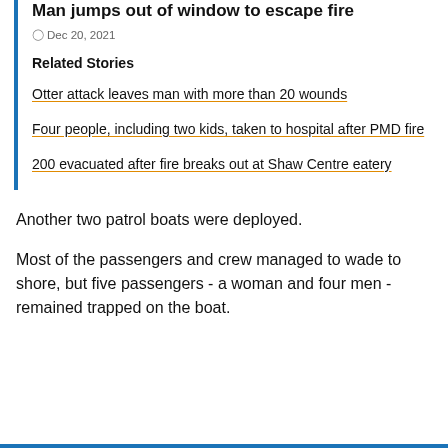Man jumps out of window to escape fire
Dec 20, 2021
Related Stories
Otter attack leaves man with more than 20 wounds
Four people, including two kids, taken to hospital after PMD fire
200 evacuated after fire breaks out at Shaw Centre eatery
Another two patrol boats were deployed.
Most of the passengers and crew managed to wade to shore, but five passengers - a woman and four men - remained trapped on the boat.